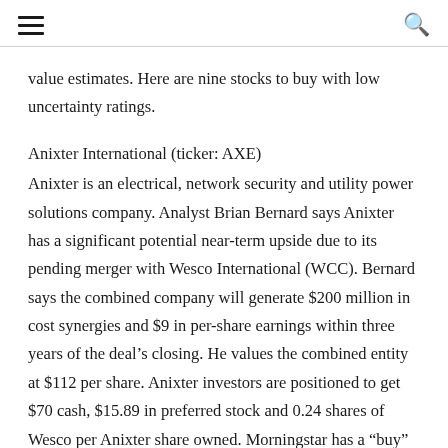value estimates. Here are nine stocks to buy with low uncertainty ratings.
Anixter International (ticker: AXE)
Anixter is an electrical, network security and utility power solutions company. Analyst Brian Bernard says Anixter has a significant potential near-term upside due to its pending merger with Wesco International (WCC). Bernard says the combined company will generate $200 million in cost synergies and $9 in per-share earnings within three years of the deal's closing. He values the combined entity at $112 per share. Anixter investors are positioned to get $70 cash, $15.89 in preferred stock and 0.24 shares of Wesco per Anixter share owned. Morningstar has a “buy” rating and $113 fair value estimate for AXE stock.